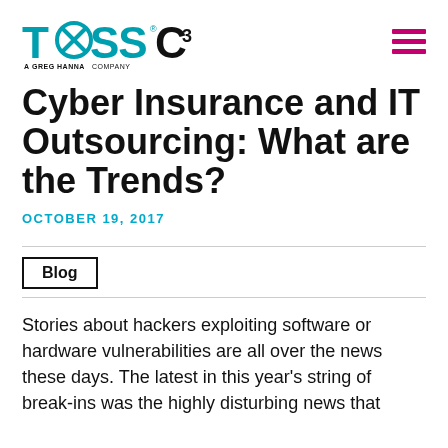TOSS C3 — A Greg Hanna Company
Cyber Insurance and IT Outsourcing: What are the Trends?
OCTOBER 19, 2017
Blog
Stories about hackers exploiting software or hardware vulnerabilities are all over the news these days. The latest in this year's string of break-ins was the highly disturbing news that...